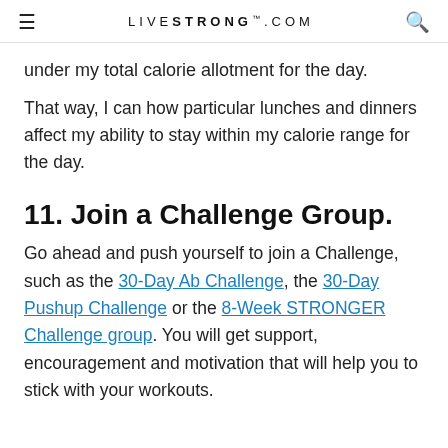LIVESTRONG.COM
under my total calorie allotment for the day.
That way, I can how particular lunches and dinners affect my ability to stay within my calorie range for the day.
11. Join a Challenge Group.
Go ahead and push yourself to join a Challenge, such as the 30-Day Ab Challenge, the 30-Day Pushup Challenge or the 8-Week STRONGER Challenge group. You will get support, encouragement and motivation that will help you to stick with your workouts.